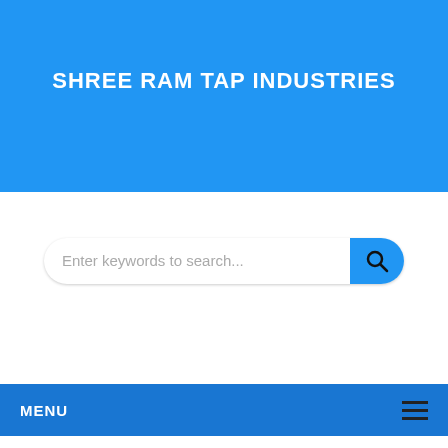SHREE RAM TAP INDUSTRIES
[Figure (screenshot): Search bar with placeholder text 'Enter keywords to search...' and a blue search button with magnifying glass icon]
MENU
[Figure (infographic): Carousel slider area with four pagination dots, first dot active in orange]
HOT DEALS